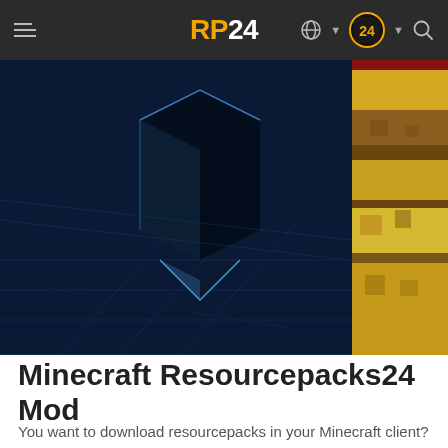RP24
[Figure (screenshot): Hero banner image showing a dark blue geometric/futuristic Minecraft scene on the left with a 3D angular dark shape, and a yellow/brown Minecraft-style texture panel on the right side]
Minecraft Resourcepacks24 Mod
You want to download resourcepacks in your Minecraft client? We have the perfect solution for you! With the Resourcepacks24 Mod you can download all